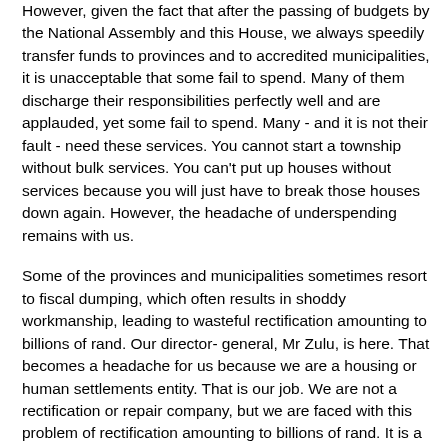However, given the fact that after the passing of budgets by the National Assembly and this House, we always speedily transfer funds to provinces and to accredited municipalities, it is unacceptable that some fail to spend. Many of them discharge their responsibilities perfectly well and are applauded, yet some fail to spend. Many - and it is not their fault - need these services. You cannot start a township without bulk services. You can't put up houses without services because you will just have to break those houses down again. However, the headache of underspending remains with us.
Some of the provinces and municipalities sometimes resort to fiscal dumping, which often results in shoddy workmanship, leading to wasteful rectification amounting to billions of rand. Our director- general, Mr Zulu, is here. That becomes a headache for us because we are a housing or human settlements entity. That is our job. We are not a rectification or repair company, but we are faced with this problem of rectification amounting to billions of rand. It is a sad story but it has to be done. The newly appointed board of the National Home Builders Registration Council, the